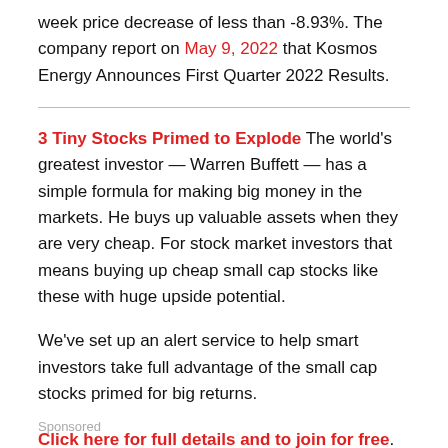week price decrease of less than -8.93%. The company report on May 9, 2022 that Kosmos Energy Announces First Quarter 2022 Results.
3 Tiny Stocks Primed to Explode The world's greatest investor — Warren Buffett — has a simple formula for making big money in the markets. He buys up valuable assets when they are very cheap. For stock market investors that means buying up cheap small cap stocks like these with huge upside potential.
We've set up an alert service to help smart investors take full advantage of the small cap stocks primed for big returns.
Click here for full details and to join for free.
Sponsored